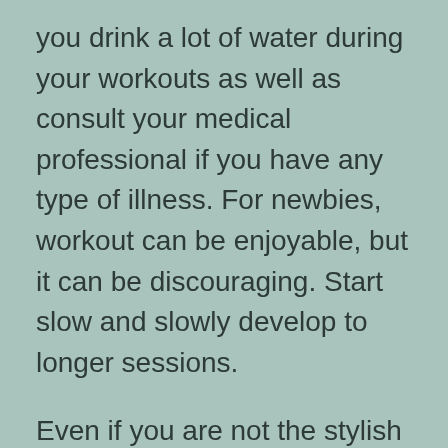you drink a lot of water during your workouts as well as consult your medical professional if you have any type of illness. For newbies, workout can be enjoyable, but it can be discouraging. Start slow and slowly develop to longer sessions.
Even if you are not the stylish type, regular workout can assist you live longer. Raising your heart rate can additionally offer you a lot more energy and decrease the threat of clinical depression. Routine exercise additionally boosts your mood, minimizing feelings of stress and anxiety as well as anxiety. Workout